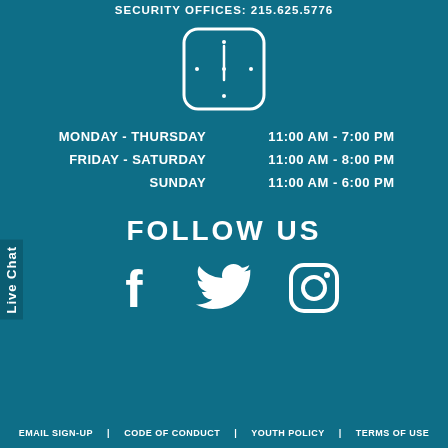SECURITY OFFICES: 215.625.5776
[Figure (illustration): Clock icon with rounded square border, showing approximately 12 o'clock, white outline style on teal background]
| MONDAY - THURSDAY | 11:00 AM - 7:00 PM |
| FRIDAY - SATURDAY | 11:00 AM - 8:00 PM |
| SUNDAY | 11:00 AM - 6:00 PM |
FOLLOW US
[Figure (illustration): Three social media icons: Facebook (f), Twitter (bird), Instagram (camera) in white on teal background]
Live Chat
EMAIL SIGN-UP   CODE OF CONDUCT   YOUTH POLICY   TERMS OF USE